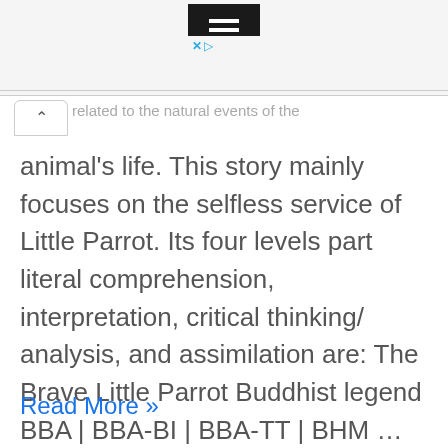[Figure (screenshot): Advertisement banner with dark icon containing horizontal lines and blue X and play icons below]
related to the natural events of the animal's life. This story mainly focuses on the selfless service of Little Parrot. Its four levels part literal comprehension, interpretation, critical thinking/ analysis, and assimilation are: The Brave Little Parrot Buddhist legend BBA | BBA-BI | BBA-TT | BHM ...
Read More »